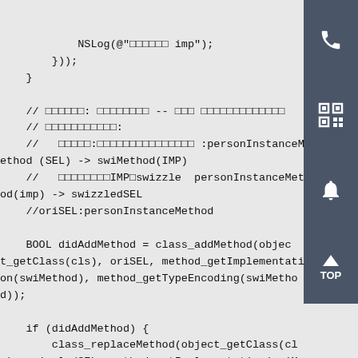NSLog(@"noHasImp");
        }));
    }

    // 思路分析: 方法替换 -- 需要 注意一些边界条件的处理
    // 实现细节如下:
    //   原始方法:personInstanceMethod :personInstanceMethod (SEL) -> swiMethod(IMP)
    //   获取原始IMPn swizzle  personInstanceMethod(imp) -> swizzledSEL
    //oriSEL:personInstanceMethod

    BOOL didAddMethod = class_addMethod(object_getClass(cls), oriSEL, method_getImplementation(swiMethod), method_getTypeEncoding(swiMethod), method_getTypeEncoding(swiMethod));

    if (didAddMethod) {
        class_replaceMethod(object_getClass(cls), swizzledSEL, method_getImplementation(oriMethod), method_getTypeEncoding(oriMethod));
    }else{
        method exchangeImplementations(oriMethod